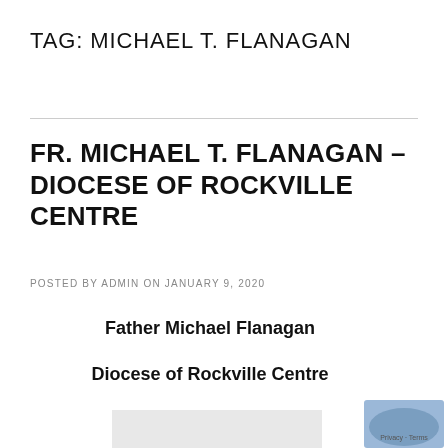TAG: MICHAEL T. FLANAGAN
FR. MICHAEL T. FLANAGAN – DIOCESE OF ROCKVILLE CENTRE
POSTED BY ADMIN ON JANUARY 9, 2020
Father Michael Flanagan
Diocese of Rockville Centre